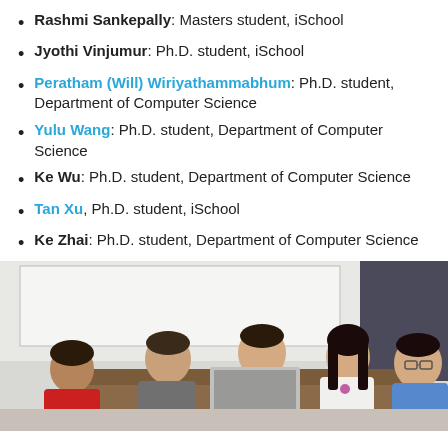Rashmi Sankepally: Masters student, iSchool
Jyothi Vinjumur: Ph.D. student, iSchool
Peratham (Will) Wiriyathammabhum: Ph.D. student, Department of Computer Science
Yulu Wang: Ph.D. student, Department of Computer Science
Ke Wu: Ph.D. student, Department of Computer Science
Tan Xu, Ph.D. student, iSchool
Ke Zhai: Ph.D. student, Department of Computer Science
[Figure (photo): Group of five students sitting around a table with a laptop, in what appears to be a study room or lab setting.]